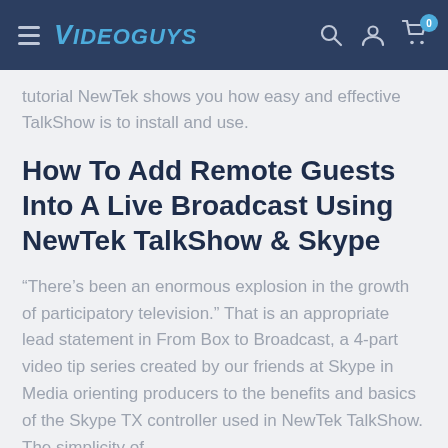VIDEOGUYS — navigation header with search, account, and cart icons
tutorial NewTek shows you how easy and effective TalkShow is to install and use.
How To Add Remote Guests Into A Live Broadcast Using NewTek TalkShow & Skype
“There’s been an enormous explosion in the growth of participatory television.” That is an appropriate lead statement in From Box to Broadcast, a 4-part video tip series created by our friends at Skype in Media orienting producers to the benefits and basics of the Skype TX controller used in NewTek TalkShow. The simplicity of